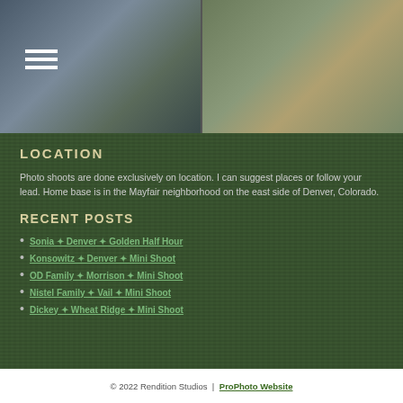[Figure (photo): Two photos side by side: left shows people in blue clothing, right shows a woman in a dark striped dress in a field]
LOCATION
Photo shoots are done exclusively on location. I can suggest places or follow your lead. Home base is in the Mayfair neighborhood on the east side of Denver, Colorado.
RECENT POSTS
Sonia ✦ Denver ✦ Golden Half Hour
Konsowitz ✦ Denver ✦ Mini Shoot
OD Family ✦ Morrison ✦ Mini Shoot
Nistel Family ✦ Vail ✦ Mini Shoot
Dickey ✦ Wheat Ridge ✦ Mini Shoot
© 2022 Rendition Studios  |  ProPhoto Website